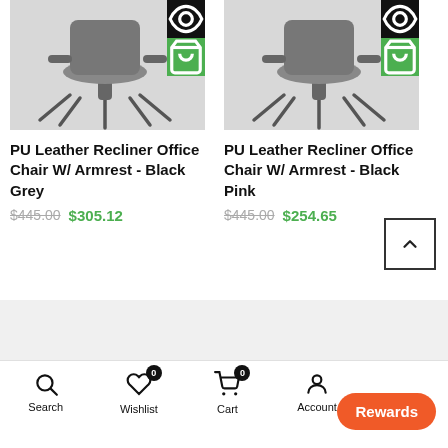[Figure (screenshot): Product card: PU Leather Recliner Office Chair with action buttons (view/cart overlay)]
PU Leather Recliner Office Chair W/ Armrest - Black Grey
$445.00 $305.12
[Figure (screenshot): Product card: PU Leather Recliner Office Chair with action buttons (view/cart overlay)]
PU Leather Recliner Office Chair W/ Armrest - Black Pink
$445.00 $254.65
[Figure (other): Back to top chevron button]
Search  Wishlist 0  Cart 0  Account  Shop  Rewards